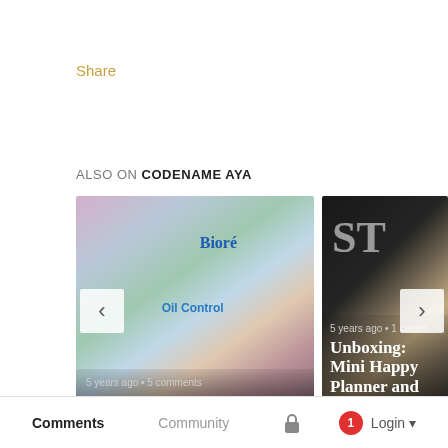Share
ALSO ON CODENAME AYA
[Figure (photo): Two content cards shown side by side. Left card shows Bioré skincare products with title 'Haul: Excited', 5 years ago, 5 comments. Right card shows a dark planner product with title 'Unboxing: Mini Happy Planner and Deluxe Cov', 5 years ago, 1 comment. Navigation arrows on left and right.]
Comments   Community   🔒   1   Login ▾